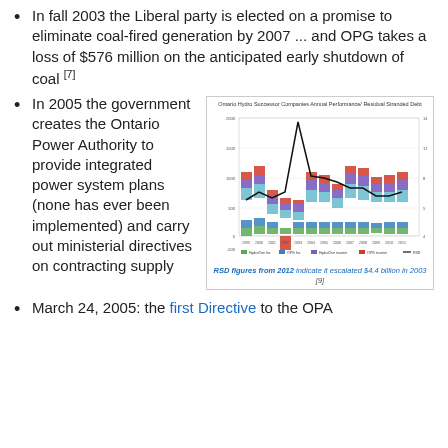In fall 2003 the Liberal party is elected on a promise to eliminate coal-fired generation by 2007 ... and OPG takes a loss of $576 million on the anticipated early shutdown of coal [7]
[Figure (stacked-bar-chart): Stacked bar chart showing HydroOne Inc, OPG Inc, HydroOne income, OPG income, and RSD from 1999 to 2012, with a line showing RSD trend. RSD figures from 2012 indicate it escalated $4.4 billion in 2003 [9]]
RSD figures from 2012 indicate it escalated $4.4 billion in 2003 [9]
In 2005 the government creates the Ontario Power Authority to provide integrated power system plans (none has ever been implemented) and carry out ministerial directives on contracting supply
March 24, 2005: the first Directive to the OPA from the Minister of Energy was...